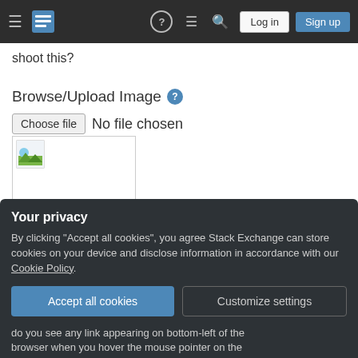Stack Exchange navigation bar with hamburger menu, logo, help icon, chat icon, search icon, Log in button, Sign up button
shoot this?
Browse/Upload Image
Choose file   No file chosen
[Figure (screenshot): Image preview box with a broken/placeholder image icon showing a small landscape thumbnail]
Delete Contact Image
images
ssl
Your privacy
By clicking "Accept all cookies", you agree Stack Exchange can store cookies on your device and disclose information in accordance with our Cookie Policy.
Accept all cookies   Customize settings
do you see any link appearing on bottom-left of the browser when you hover the mouse pointer on the